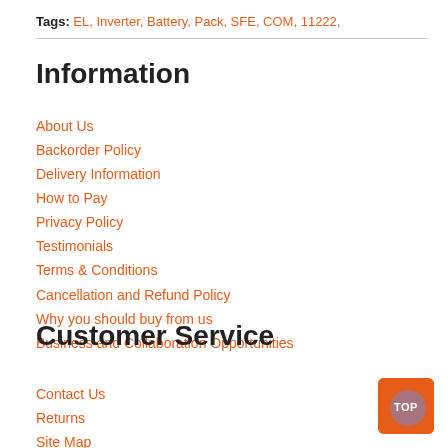Tags: EL, Inverter, Battery, Pack, SFE, COM, 11222,
Information
About Us
Backorder Policy
Delivery Information
How to Pay
Privacy Policy
Testimonials
Terms & Conditions
Cancellation and Refund Policy
Why you should buy from us
Business and Collaboration Opportunities
Customer Service
Contact Us
Returns
Site Map